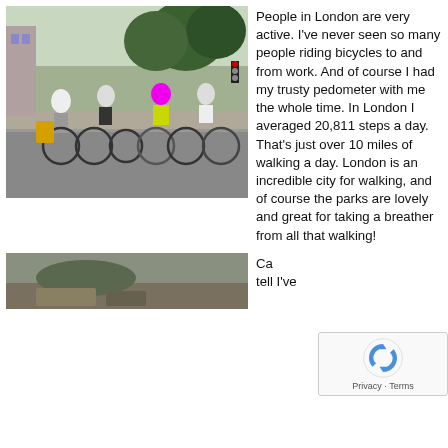[Figure (photo): Group of cyclists riding bicycles at a London street intersection with trees and traffic lights in background.]
People in London are very active. I've never seen so many people riding bicycles to and from work. And of course I had my trusty pedometer with me the whole time. In London I averaged 20,811 steps a day. That's just over 10 miles of walking a day. London is an incredible city for walking, and of course the parks are lovely and great for taking a breather from all that walking!
[Figure (photo): Partial view of a second photo at the bottom of the page.]
Ca... tell I've